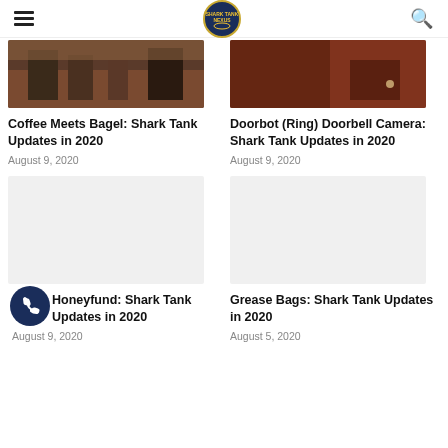Shark Tank Nexus (logo)
[Figure (photo): Photo of a room with chairs and tables, dark tones]
Coffee Meets Bagel: Shark Tank Updates in 2020
August 9, 2020
[Figure (photo): Dark reddish photo, indoor scene]
Doorbot (Ring) Doorbell Camera: Shark Tank Updates in 2020
August 9, 2020
[Figure (photo): Placeholder light grey image]
Honeyfund: Shark Tank Updates in 2020
August 9, 2020
[Figure (photo): Placeholder light grey image]
Grease Bags: Shark Tank Updates in 2020
August 5, 2020